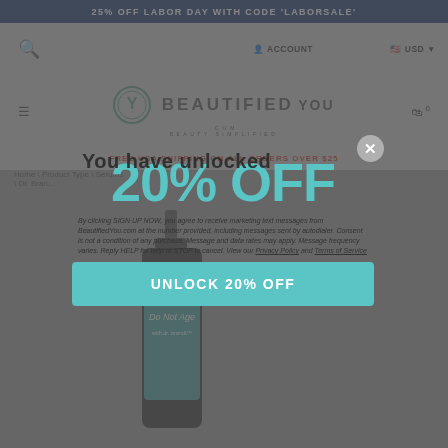25% OFF LABOR DAY WITH CODE 'LABORSALE'
[Figure (screenshot): Website navigation bar with search icon, ACCOUNT link, and USD currency selector]
[Figure (logo): BeautifiedYou.com logo with circular tree icon and tagline BEAUTY SIMPLIFIED]
FREE USA SHIPPING ON ALL ORDERS OVER $25
Home \ Product Type \ Serums \ Dr. Bran...
[Figure (photo): Dr. Brandt Do Not Age serum bottle product image]
You have unlocked
20% OFF
By clicking SIGN UP NOW, you agree to receive marketing text messages from BeautifiedYou.com at the number provided, including messages sent by autodialer. Consent is not a condition of any purchase. Message and data rates may apply. Message frequency varies. Reply HELP for help or STOP to cancel. View our Privacy Policy and Terms of Service
UNLOCK 20% OFF